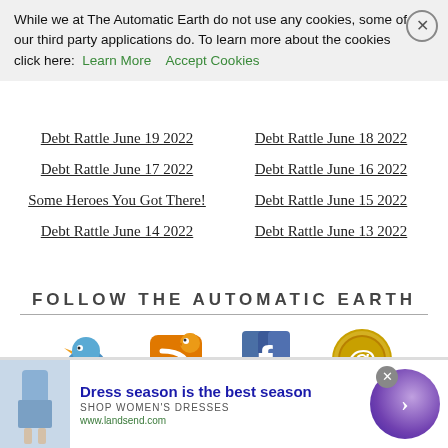While we at The Automatic Earth do not use any cookies, some of our third party applications do. To learn more about the cookies click here: Learn More | Accept Cookies
Debt Rattle June 19 2022
Debt Rattle June 18 2022
Debt Rattle June 17 2022
Debt Rattle June 16 2022
Some Heroes You Got There!
Debt Rattle June 15 2022
Debt Rattle June 14 2022
Debt Rattle June 13 2022
FOLLOW THE AUTOMATIC EARTH
[Figure (infographic): Social media follow icons: Twitter (blue bird), RSS Feed (orange RSS bird), Facebook (blue F logo), Email (gold @ symbol)]
[Figure (infographic): Advertisement banner: Lands End dress season promotion with image of woman in blue dress, text 'Dress season is the best season', 'SHOP WOMEN'S DRESSES', 'www.landsend.com', and a purple circular arrow button]